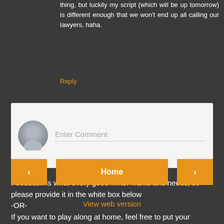thing, but luckily my script (which will be up tomorrow) is different enough that we won't end up all calling our lawyers, haha.
Reply
[Figure (other): Comment entry box with avatar placeholder and 'Enter Comment' input field]
Feedback is what every good writer wants and needs, so please provide it in the white box below -OR- If you want to play along at home, feel free to put your scripts under the Why? post for the week.
< Home > navigation buttons and View web version link